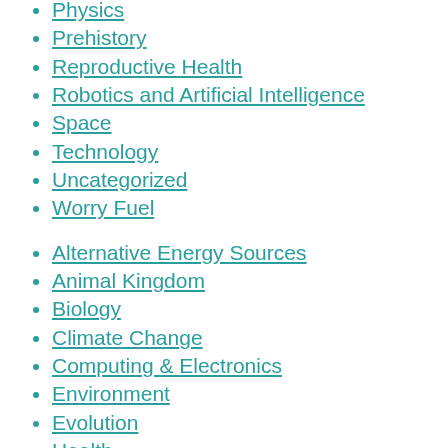Physics
Prehistory
Reproductive Health
Robotics and Artificial Intelligence
Space
Technology
Uncategorized
Worry Fuel
Alternative Energy Sources
Animal Kingdom
Biology
Climate Change
Computing & Electronics
Environment
Evolution
Health
Diet
Environmental Factors
Genetics